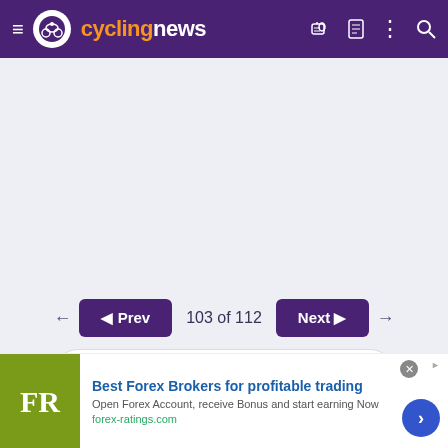cyclingnews
103 of 112
You must log in or register to reply here.
[Figure (screenshot): Advertisement banner for Best Forex Brokers. FR logo on green background. Text: Best Forex Brokers for profitable trading. Open Forex Account, receive Bonus and start earning Now. forex-ratings.com]